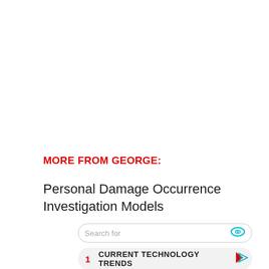MORE FROM GEORGE:
Personal Damage Occurrence Investigation Models
Search for
1  CURRENT TECHNOLOGY TRENDS
2  FIRE SAFETY TRAINING